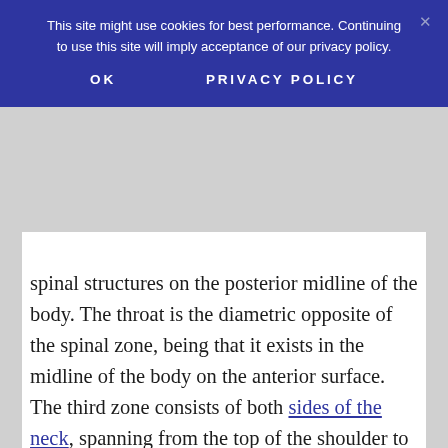This site might use cookies for best performance. Continuing to use this site will imply acceptance of our privacy policy.
OK    PRIVACY POLICY
spinal structures on the posterior midline of the body. The throat is the diametric opposite of the spinal zone, being that it exists in the midline of the body on the anterior surface. The third zone consists of both sides of the neck, spanning from the top of the shoulder to the side of the skull, near each ear. Swelling might occur in any of these areas or in multiple regions at once. The location of the symptoms might help to diagnose its origin.